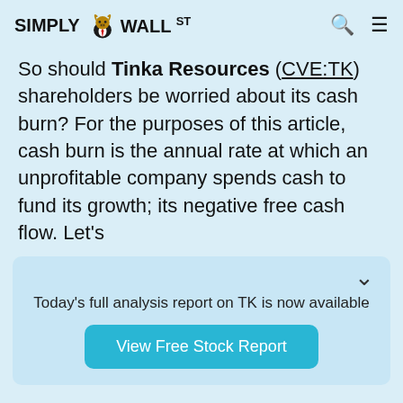SIMPLY WALL ST
So should Tinka Resources (CVE:TK) shareholders be worried about its cash burn? For the purposes of this article, cash burn is the annual rate at which an unprofitable company spends cash to fund its growth; its negative free cash flow. Let's
Today's full analysis report on TK is now available
View Free Stock Report
Does Tinka Resources Have A Long Cash Runway?